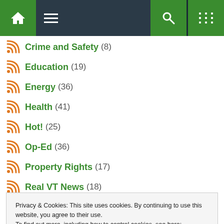Navigation bar with home, menu, search, and random icons
Crime and Safety (8)
Education (19)
Energy (36)
Health (41)
Hot! (25)
Op-Ed (36)
Property Rights (17)
Real VT News (18)
Rutland County (9)
Sports & Outdoors (53)
Privacy & Cookies: This site uses cookies. By continuing to use this website, you agree to their use.
To find out more, including how to control cookies, see here:
Cookie Policy
Close and accept